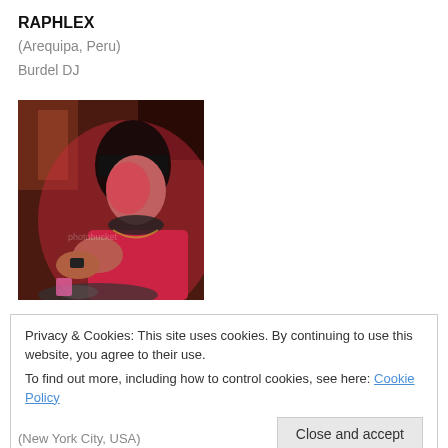RAPHLEX
(Arequipa, Peru)
Burdel DJ
[Figure (photo): A DJ wearing red, working at turntables in a dimly lit venue with red lighting, wearing headphones around neck, dark hair with bangs.]
Privacy & Cookies: This site uses cookies. By continuing to use this website, you agree to their use.
To find out more, including how to control cookies, see here: Cookie Policy
Close and accept
(New York City, USA)